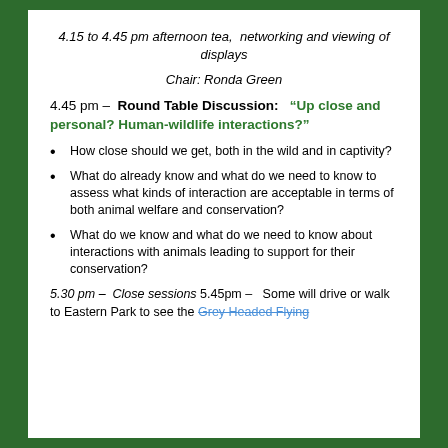4.15 to 4.45 pm afternoon tea,  networking and viewing of displays
Chair: Ronda Green
4.45 pm –  Round Table Discussion:   "Up close and personal? Human-wildlife interactions?"
How close should we get, both in the wild and in captivity?
What do already know and what do we need to know to assess what kinds of interaction are acceptable in terms of both animal welfare and conservation?
What do we know and what do we need to know about interactions with animals leading to support for their conservation?
5.30 pm –  Close sessions 5.45pm –   Some will drive or walk to Eastern Park to see the Grey Headed Flying